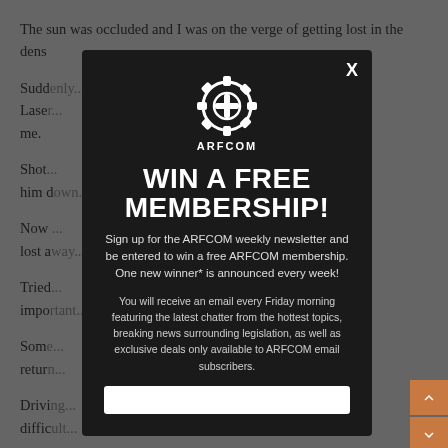The sun was occluded and I was on the verge of getting lost in the dens[...] thicket
Sudd[enly...] Lase[r...] en m me.
Shot[...] had him d[own...]
Now [...] most lost a[way...]
Tried [...] s impo[rtant...]
Som[e...] retur[n...]
Drivi[ng...] ely diffic[ult...]
[Figure (other): ARFCOM modal popup dialog with logo, WIN A FREE MEMBERSHIP headline, subscription signup text, and email input field. Dark background modal overlaying a grey webpage with partial text visible.]
WIN A FREE MEMBERSHIP!
Sign up for the ARFCOM weekly newsletter and be entered to win a free ARFCOM membership. One new winner* is announced every week!
You will receive an email every Friday morning featuring the latest chatter from the hottest topics, breaking news surrounding legislation, as well as exclusive deals only available to ARFCOM email subscribers.